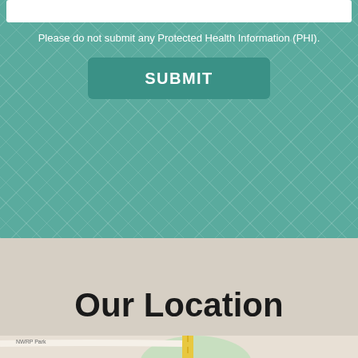Please do not submit any Protected Health Information (PHI).
SUBMIT
Our Location
[Figure (map): Street map showing area near Smith St with Ashwood Park labeled, zoom controls visible, accessibility icon in lower left.]